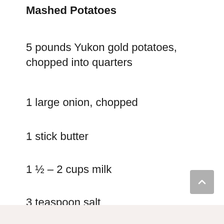Mashed Potatoes
5 pounds Yukon gold potatoes, chopped into quarters
1 large onion, chopped
1 stick butter
1 ½ – 2 cups milk
3 teaspoon salt
2 teaspoon black pepper